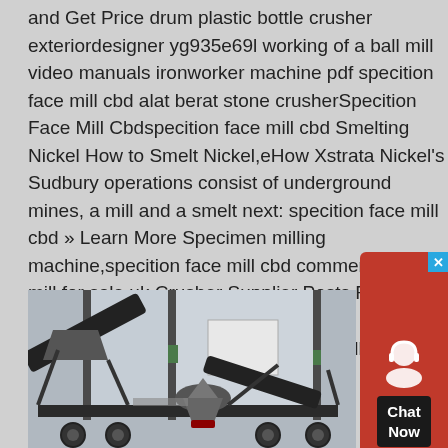and Get Price drum plastic bottle crusher exteriordesigner yg935e69l working of a ball mill video manuals ironworker machine pdf specition face mill cbd alat berat stone crusherSpecition Face Mill Cbdspecition face mill cbd Smelting Nickel How to Smelt Nickel,eHow Xstrata Nickel's Sudbury operations consist of underground mines, a mill and a smelt next: specition face mill cbd » Learn More Specimen milling machine,specition face mill cbd commercial grain mill for sale uk Crusher Supplier Posts Related to commercial grain mill for sale in Tavern forspecition face mill cbd – Grinding Mill China
[Figure (photo): A mobile crushing machine (rock crusher / stone crusher) on a wheeled chassis, photographed indoors in a warehouse or exhibition hall. The machine is dark grey/black with conveyor belts and a cone crusher unit.]